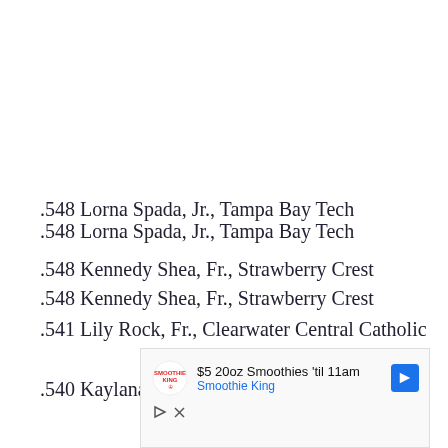.548 Lorna Spada, Jr., Tampa Bay Tech
.548 Kennedy Shea, Fr., Strawberry Crest
.541 Lily Rock, Fr., Clearwater Central Catholic
.540 Kaylana Lyons, 8th, Hernando Christian
[Figure (other): Advertisement for Smoothie King: '$5 20oz Smoothies til 11am' with Smoothie King logo and navigation arrow icon]